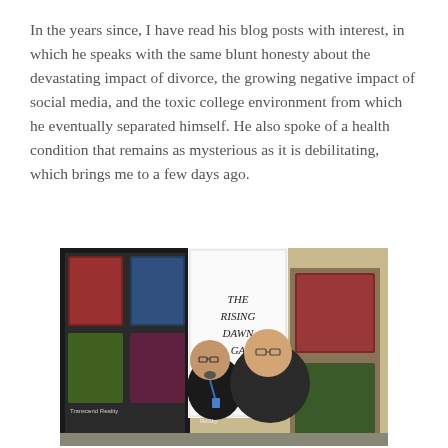In the years since, I have read his blog posts with interest, in which he speaks with the same blunt honesty about the devastating impact of divorce, the growing negative impact of social media, and the toxic college environment from which he eventually separated himself. He also spoke of a health condition that remains as mysterious as it is debilitating, which brings me to a few days ago.
[Figure (photo): Two men standing at a convention booth. Behind them are banner displays including one reading 'Transcend Reality' and another reading 'The Rising Dawn Saga'. One man wears a black shirt reading 'Red Sky' and has a lanyard/badge. Both men are wearing glasses. Various book or game covers are visible on the banners.]